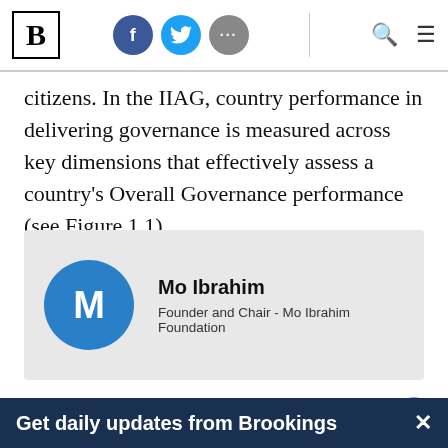B [logo] | Facebook | Twitter | More | Search | Menu
citizens. In the IIAG, country performance in delivering governance is measured across key dimensions that effectively assess a country's Overall Governance performance (see Figure 1.1).
[Figure (other): Author card showing Mo Ibrahim, Founder and Chair - Mo Ibrahim Foundation, with circular blue avatar showing letter M]
Over the past decade, public governance in Af…
Get daily updates from Brookings